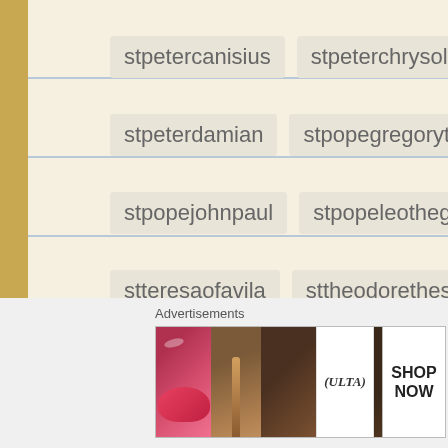stpetercanisius
stpeterchrysologus
stpeterdamian
stpopegregorythegreat
stpopejohnpaul
stpopeleothegreat
stteresaofavila
sttheodorethestudite
stthereseofthechildjesus
stthomasaquinas
stthomasmore
stvincentdepaul
sundayreflection
thomasakempis
treasure
venpopepiusXII
Advertisements